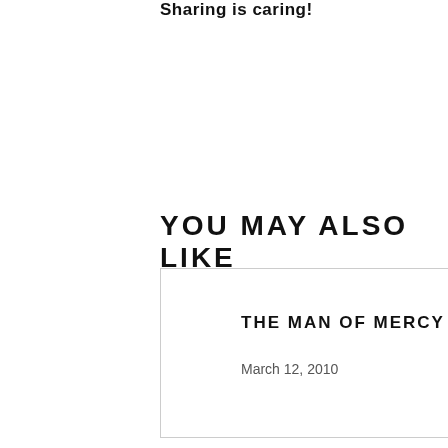Sharing is caring!
YOU MAY ALSO LIKE
THE MAN OF MERCY
March 12, 2010